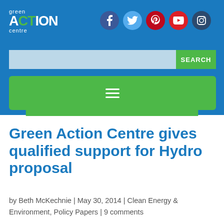[Figure (logo): Green Action Centre logo with social media icons (Facebook, Twitter, Pinterest, YouTube, Instagram) and a search bar and navigation menu on a blue background]
Green Action Centre gives qualified support for Hydro proposal
by Beth McKechnie | May 30, 2014 | Clean Energy & Environment, Policy Papers | 9 comments